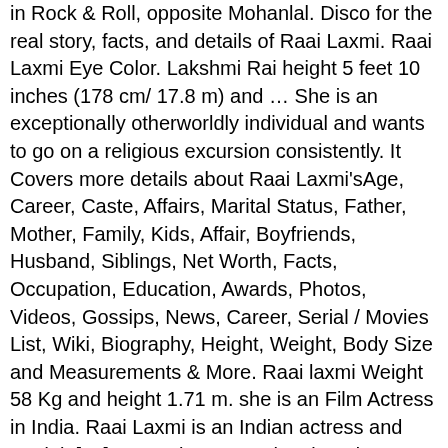in Rock & Roll, opposite Mohanial. Disco for the real story, facts, and details of Raai Laxmi. Raai Laxmi Eye Color. Lakshmi Rai height 5 feet 10 inches (178 cm/ 17.8 m) and ... She is an exceptionally otherworldly individual and wants to go on a religious excursion consistently. It Covers more details about Raai Laxmi'sAge, Career, Caste, Affairs, Marital Status, Father, Mother, Family, Kids, Affair, Boyfriends, Husband, Siblings, Net Worth, Facts, Occupation, Education, Awards, Photos, Videos, Gossips, News, Career, Serial / Movies List, Wiki, Biography, Height, Weight, Body Size and Measurements & More. Raai laxmi Weight 58 Kg and height 1.71 m. she is an Film Actress in India. Raai Laxmi is an Indian actress and model. [28] In October 2016 she signed to perform her fourth item number with Chiranjeevi in his 150th film Khaidi No. In 2018, she made her comeback to Malayalam cinema with the Mammootty starrer Oru Kuttanadan Blog. Raai Laxmi is a well distinguished Indian actress and model who is prominently known for her appearances in the Tamil, Malayalam, Telugu, and Kannada film industry. Watch video", "I was brought up like a boy: Raai Laxmi", "Lakshmi Rai flooded with